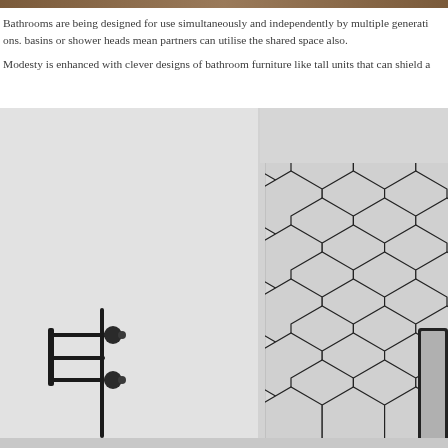Bathrooms are being designed for use simultaneously and independently by multiple generations. basins or shower heads mean partners can utilise the shared space also.
Modesty is enhanced with clever designs of bathroom furniture like tall units that can shield a
[Figure (photo): A modern bathroom interior showing large hexagonal grey tiles on the wall, with a corner view revealing light grey walls. In the lower left, a black metal wall-mounted coat/towel rack with round disc hooks is visible. In the lower right, the edge of a dark-framed mirror or panel is partially visible.]